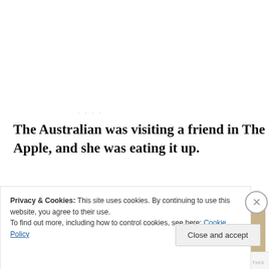The Australian was visiting a friend in The Apple, and she was eating it up.
[Figure (photo): Two people sitting at a table in a restaurant or cafe. One person has long hair and is facing away from camera; the other is smiling at the camera. There is a dark bottle/drink on the table. Purple fabric visible in background.]
Privacy & Cookies: This site uses cookies. By continuing to use this website, you agree to their use.
To find out more, including how to control cookies, see here: Cookie Policy
Close and accept